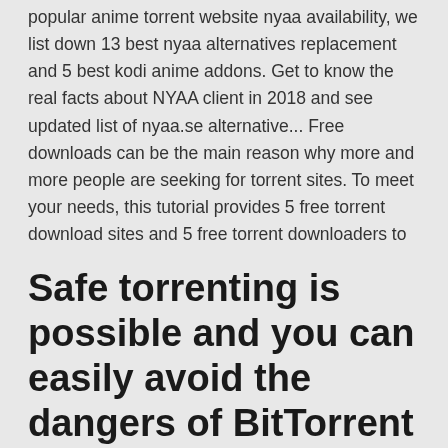popular anime torrent website nyaa availability, we list down 13 best nyaa alternatives replacement and 5 best kodi anime addons. Get to know the real facts about NYAA client in 2018 and see updated list of nyaa.se alternative... Free downloads can be the main reason why more and more people are seeking for torrent sites. To meet your needs, this tutorial provides 5 free torrent download sites and 5 free torrent downloaders to
Safe torrenting is possible and you can easily avoid the dangers of BitTorrent download. Discover why you should never torrenting without VPN
15 Jan 2020 Lastly, it also ensures trusted and safe downloads. This torrent website offers a wide variety of active anime, ebook, and music torrents along  28 Jun 2017 Still Downloading or